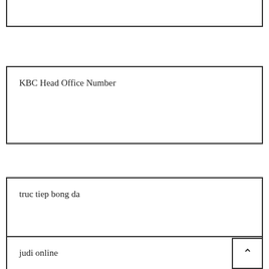bandarqq
KBC Head Office Number
truc tiep bong da
judi online